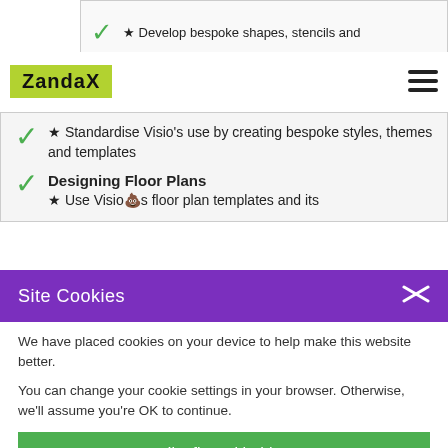[Figure (screenshot): Partial top section showing a checkmark and bullet point text 'Develop bespoke shapes, stencils and...']
[Figure (logo): ZandaX logo with green background]
★ Standardise Visio's use by creating bespoke styles, themes and templates
Designing Floor Plans
★ Use Visio's floor plan templates and its
Site Cookies
We have placed cookies on your device to help make this website better.
You can change your cookie settings in your browser. Otherwise, we'll assume you're OK to continue.
I'm fine with this
More information on the cookies we use and how to change your settings